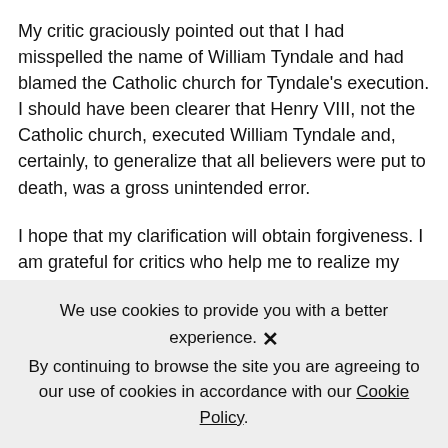My critic graciously pointed out that I had misspelled the name of William Tyndale and had blamed the Catholic church for Tyndale's execution. I should have been clearer that Henry VIII, not the Catholic church, executed William Tyndale and, certainly, to generalize that all believers were put to death, was a gross unintended error.
I hope that my clarification will obtain forgiveness. I am grateful for critics who help me to realize my weakness. Mistakes are my teachers, but I want my critics to know that I was not taking a political stance or pointing fingers.
We use cookies to provide you with a better experience. ✕ By continuing to browse the site you are agreeing to our use of cookies in accordance with our Cookie Policy.